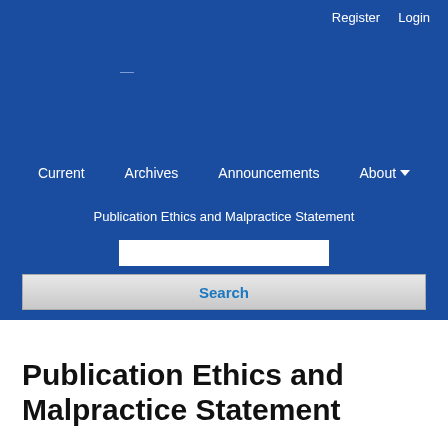Register   Login
Current   Archives   Announcements   About
Publication Ethics and Malpractice Statement
Search
Publication Ethics and Malpractice Statement